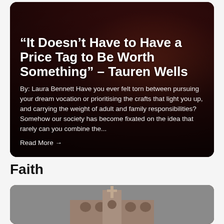[Figure (photo): Dark red curtain background with a person sitting and speaking/performing on stage, wearing glasses and a patterned shirt]
“It Doesn’t Have to Have a Price Tag to Be Worth Something” – Tauren Wells
By: Laura Bennett Have you ever felt torn between pursuing your dream vocation or prioritising the crafts that light you up, and carrying the weight of adult and family responsibilities?Somehow our society has become fixated on the idea that rarely can you combine the...
Read More →
Faith
[Figure (photo): Exterior of a church building with arched windows visible at the top, against a gray sky]